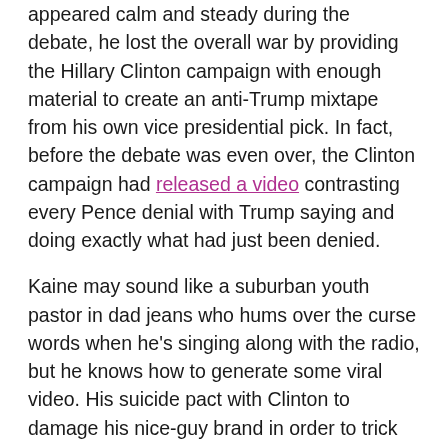appeared calm and steady during the debate, he lost the overall war by providing the Hillary Clinton campaign with enough material to create an anti-Trump mixtape from his own vice presidential pick. In fact, before the debate was even over, the Clinton campaign had released a video contrasting every Pence denial with Trump saying and doing exactly what had just been denied.
Kaine may sound like a suburban youth pastor in dad jeans who hums over the curse words when he's singing along with the radio, but he knows how to generate some viral video. His suicide pact with Clinton to damage his nice-guy brand in order to trick Pence into a supercut of the Shaggy defense worked beautifully.
How bad was it? Reports from the Trump campaign